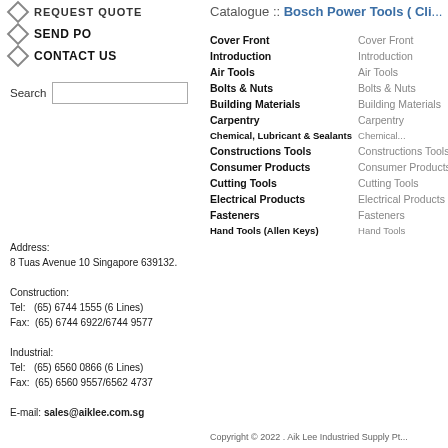REQUEST QUOTE
SEND PO
CONTACT US
Search
Address:
8 Tuas Avenue 10 Singapore 639132.

Construction:
Tel:   (65) 6744 1555 (6 Lines)
Fax:  (65) 6744 6922/6744 9577

Industrial:
Tel:   (65) 6560 0866 (6 Lines)
Fax:  (65) 6560 9557/6562 4737

E-mail: sales@aiklee.com.sg
Catalogue :: Bosch Power Tools ( Cli...
Cover Front   Cover Front
Introduction   Introduction
Air Tools   Air Tools
Bolts & Nuts   Bolts & Nuts
Building Materials   Building Materials
Carpentry   Carpentry
Chemical, Lubricant & Sealants   Chemical...
Constructions Tools   Constructions Tools
Consumer Products   Consumer Products
Cutting Tools   Cutting Tools
Electrical Products   Electrical Products
Fasteners   Fasteners
Hand Tools (Allen Keys)   Hand Tools
Copyright © 2022 . Aik Lee Industried Supply Pt...